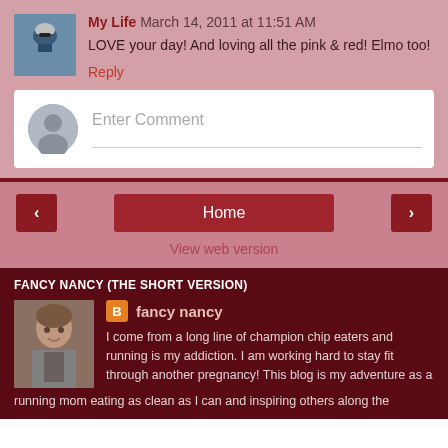[Figure (photo): Avatar photo of commenter wearing cycling helmet]
My Life March 14, 2011 at 11:51 AM
LOVE your day! And loving all the pink & red! Elmo too!
Reply
Enter Comment
Home
View web version
FANCY NANCY (THE SHORT VERSION)
[Figure (photo): Profile photo of fancy nancy blogger]
fancy nancy
I come from a long line of champion chip eaters and running is my addiction. I am working hard to stay fit through another pregnancy! This blog is my adventure as a running mom eating as clean as I can and inspiring others along the